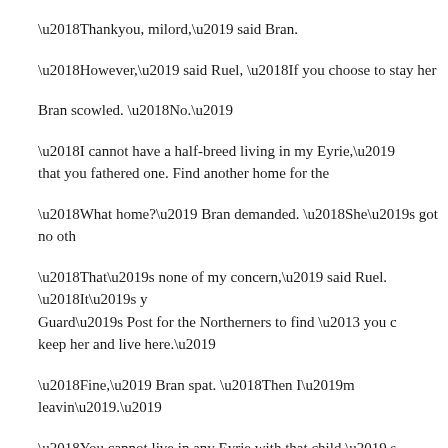‘Thankyou, milord,’ said Bran.
‘However,’ said Ruel, ‘If you choose to stay her
Bran scowled. ‘No.’
‘I cannot have a half-breed living in my Eyrie,’ that you fathered one. Find another home for the
‘What home?’ Bran demanded. ‘She’s got no oth
‘That’s none of my concern,’ said Ruel. ‘It’s y Guard’s Post for the Northerners to find – you c keep her and live here.’
‘Fine,’ Bran spat. ‘Then I’m leavin’.’
‘You cannot live in any Eyrie with that child,’ s will not want you, and Eagleholm is destroyed.’
‘Then I’ll go back to Canran,’ said Bran.